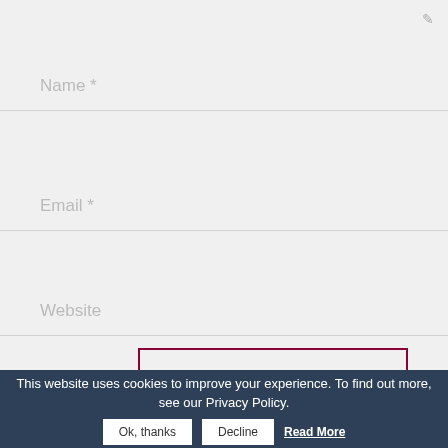[Figure (screenshot): Web comment form with Name, Email, Website input fields and a Submit Comment button on a light gray background]
This website uses cookies to improve your experience. To find out more, see our Privacy Policy.
Ok, thanks
Decline
Read More